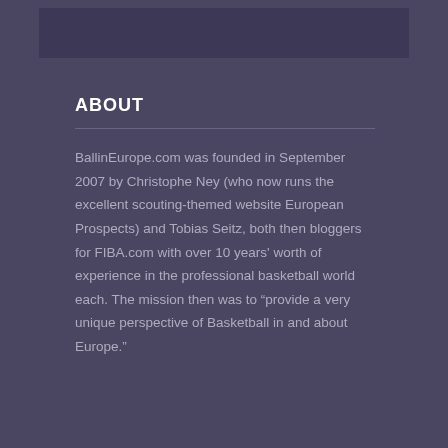ABOUT
BallinEurope.com was founded in September 2007 by Christophe Ney (who now runs the excellent scouting-themed website European Prospects) and Tobias Seitz, both then bloggers for FIBA.com with over 10 years' worth of experience in the professional basketball world each. The mission then was to “provide a very unique perspective of Basketball in and about Europe.”